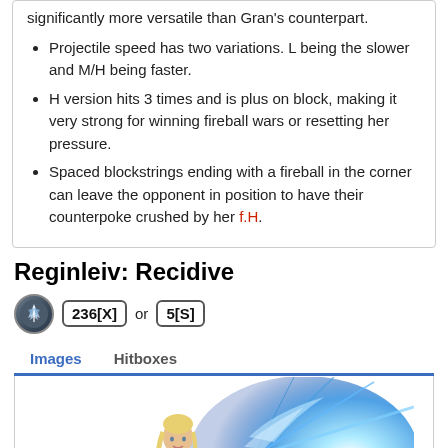significantly more versatile than Gran's counterpart.
Projectile speed has two variations. L being the slower and M/H being faster.
H version hits 3 times and is plus on block, making it very strong for winning fireball wars or resetting her pressure.
Spaced blockstrings ending with a fireball in the corner can leave the opponent in position to have their counterpoke crushed by her f.H.
Reginleiv: Recidive
236[X] or 5[S]
Images   Hitboxes
[Figure (illustration): A female character in pink armor wielding a sword, surrounded by a large blue energy burst/explosion emanating to the right.]